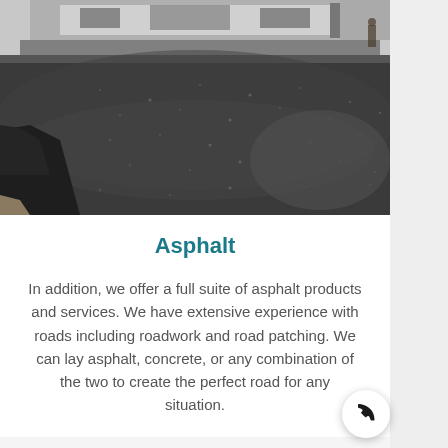[Figure (photo): Aerial view of fresh asphalt being laid by paving machinery on a road surface, showing dark grey asphalt texture with equipment visible at the top of the image.]
Asphalt
In addition, we offer a full suite of asphalt products and services. We have extensive experience with roads including roadwork and road patching. We can lay asphalt, concrete, or any combination of the two to create the perfect road for any situation.